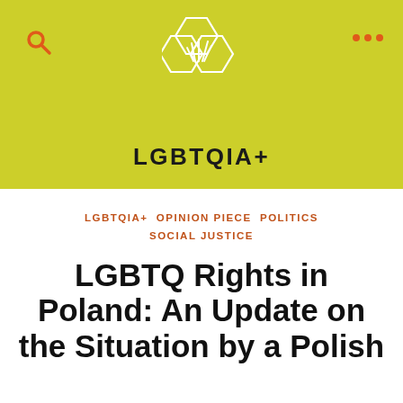[Figure (logo): Hexagonal logo with plant/grass illustration inside, white outline on yellow-green background]
LGBTQIA+
LGBTQIA+  OPINION PIECE  POLITICS  SOCIAL JUSTICE
LGBTQ Rights in Poland: An Update on the Situation by a Polish